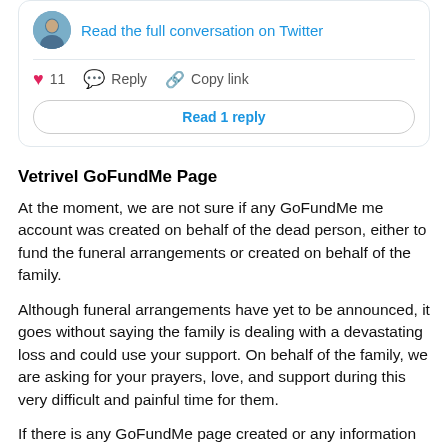[Figure (screenshot): Twitter/social media card embed with avatar, 'Read the full conversation on Twitter' link, heart (11 likes), Reply, Copy link actions, and 'Read 1 reply' button]
Vetrivel GoFundMe Page
At the moment, we are not sure if any GoFundMe me account was created on behalf of the dead person, either to fund the funeral arrangements or created on behalf of the family.
Although funeral arrangements have yet to be announced, it goes without saying the family is dealing with a devastating loss and could use your support. On behalf of the family, we are asking for your prayers, love, and support during this very difficult and painful time for them.
If there is any GoFundMe page created or any information you think we should know about, kindly use the comment section